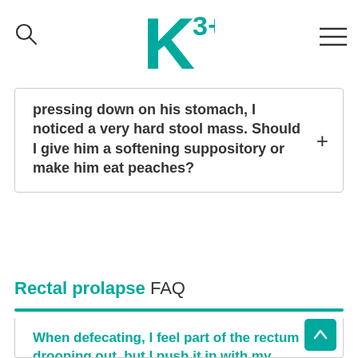K3+ (logo)
pressing down on his stomach, I noticed a very hard stool mass. Should I give him a softening suppository or make him eat peaches?
Rectal prolapse FAQ
When defecating, I feel part of the rectum drooping out, but I push it in with my finger and it comes back, can my condition improve and stop going down on its own without treatment, and is pushing it useful to